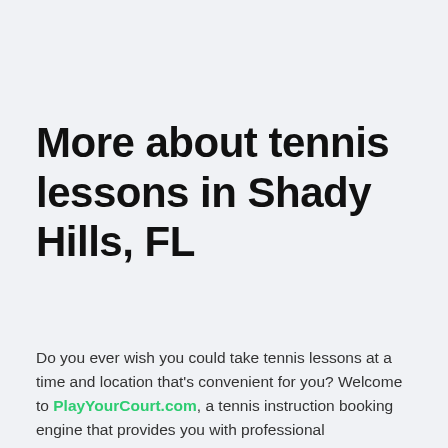More about tennis lessons in Shady Hills, FL
Do you ever wish you could take tennis lessons at a time and location that's convenient for you? Welcome to PlayYourCourt.com, a tennis instruction booking engine that provides you with professional